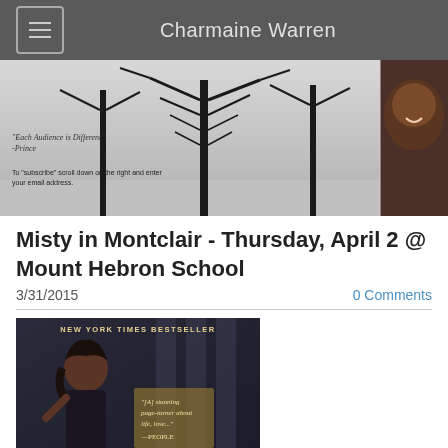Charmaine Warren
[Figure (photo): Banner with black-and-white photo of bare winter trees on left and a smiling woman on right, with text overlays: '"Each Audience is Different" -Prince' and 'To "subscribe" scroll down on the right and enter your email address.']
Misty in Montclair - Thursday, April 2 @ Mount Hebron School
3/31/2015
0 Comments
[Figure (photo): Book cover showing a woman with the text 'NEW YORK TIMES BESTSELLER' at the top and a quote from People magazine.]